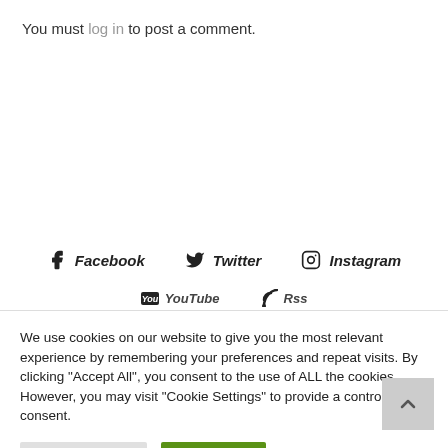You must log in to post a comment.
f Facebook  Twitter  Instagram
YouTube  Rss
We use cookies on our website to give you the most relevant experience by remembering your preferences and repeat visits. By clicking "Accept All", you consent to the use of ALL the cookies. However, you may visit "Cookie Settings" to provide a controlled consent.
Cookie Settings   Accept All